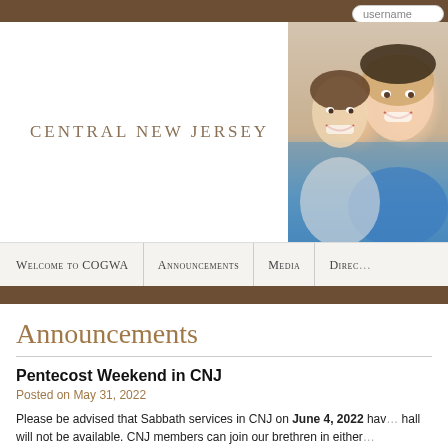CENTRAL NEW JERSEY
[Figure (photo): Photo of smiling people in the top right corner of the website header]
username
Welcome to COGWA | Announcements | Media | Direc...
Announcements
Pentecost Weekend in CNJ
Posted on May 31, 2022
Please be advised that Sabbath services in CNJ on June 4, 2022 have hall will not be available. CNJ members can join our brethren in either respective websites for meeting details. Members can also join either the link to a webcat, please email Bobby Martinez (bobbyfonts@outlo...
On Pentecost, Sunday, June 5, 2022, CNJ members will join with our PA. For details on meeting time and location, please contact pastor Ke...